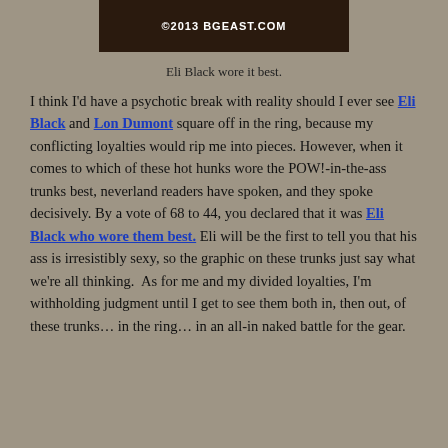[Figure (photo): Cropped photo with copyright watermark reading '©2013 BGEAST.COM']
Eli Black wore it best.
I think I'd have a psychotic break with reality should I ever see Eli Black and Lon Dumont square off in the ring, because my conflicting loyalties would rip me into pieces. However, when it comes to which of these hot hunks wore the POW!-in-the-ass trunks best, neverland readers have spoken, and they spoke decisively. By a vote of 68 to 44, you declared that it was Eli Black who wore them best. Eli will be the first to tell you that his ass is irresistibly sexy, so the graphic on these trunks just say what we're all thinking. As for me and my divided loyalties, I'm withholding judgment until I get to see them both in, then out, of these trunks… in the ring… in an all-in naked battle for the gear.